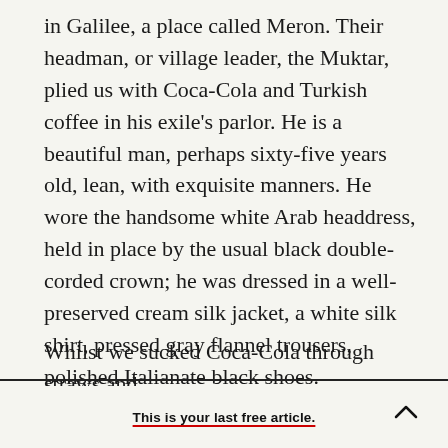in Galilee, a place called Meron. Their headman, or village leader, the Muktar, plied us with Coca-Cola and Turkish coffee in his exile's parlor. He is a beautiful man, perhaps sixty-five years old, lean, with exquisite manners. He wore the handsome white Arab headdress, held in place by the usual black double-corded crown; he was dressed in a well-preserved cream silk jacket, a white silk shirt, pressed gray flannel trousers, polished Italianate black shoes.
Whilst we sucked Coca-Cola through straws and
This is your last free article.